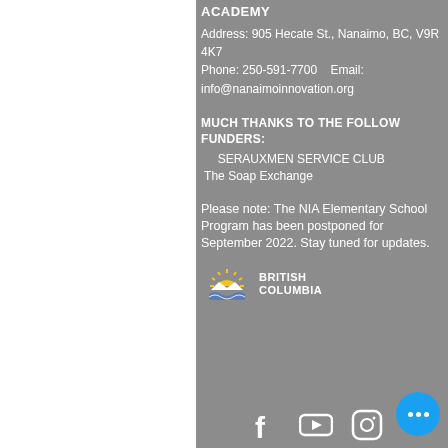ACADEMY
Address: 905 Hecate St., Nanaimo, BC, V9R 4K7
Phone:  250-591-7700    Email: info@nanaimoinnovation.org
MUCH THANKS TO THE FOLLOW FUNDERS:
SERAUXMEN SERVICE CLUB
The Soap Exchange
Please note: The NIA Elementary School Program has been postponed for September 2022. Stay tuned for updates.
[Figure (logo): British Columbia government logo with sun and waves]
[Figure (logo): Social media icons: Facebook, YouTube, Instagram]